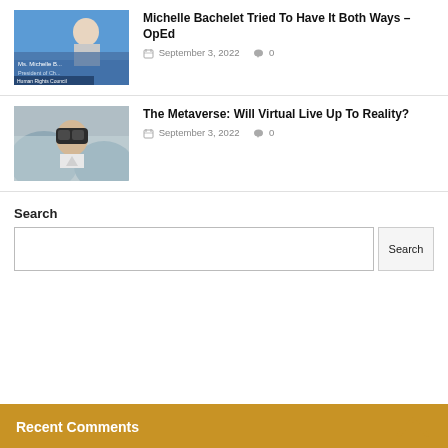[Figure (photo): Photo of Michelle Bachelet at a podium with 'Ms. Michelle B... President of Ch... Human Rights Council' text visible]
Michelle Bachelet Tried To Have It Both Ways – OpEd
September 3, 2022  0
[Figure (photo): Photo of a man wearing a VR headset with mountains in background]
The Metaverse: Will Virtual Live Up To Reality?
September 3, 2022  0
Search
Search
Recent Comments